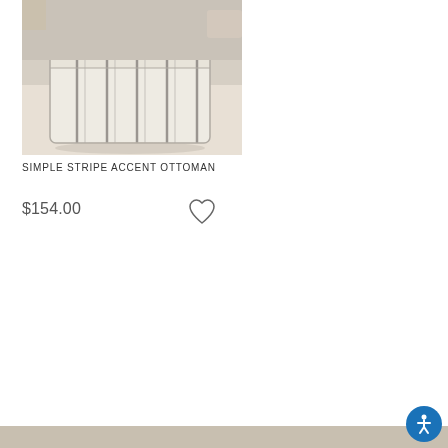[Figure (photo): A square striped accent ottoman upholstered in cream/beige fabric with vertical gray stripes, photographed on a light-colored rug with blurred furniture in the background.]
SIMPLE STRIPE ACCENT OTTOMAN
$154.00
[Figure (illustration): Heart/favorite icon outline]